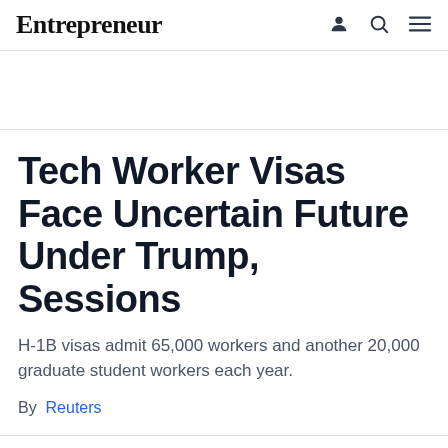Entrepreneur
Tech Worker Visas Face Uncertain Future Under Trump, Sessions
H-1B visas admit 65,000 workers and another 20,000 graduate student workers each year.
By Reuters